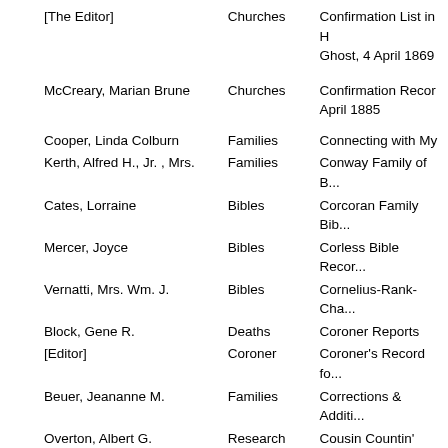| Author | Category | Title (partial) |
| --- | --- | --- |
| [The Editor] | Churches | Confirmation List in H... Ghost, 4 April 1869 |
| McCreary, Marian Brune | Churches | Confirmation Recor... April 1885 |
| Cooper, Linda Colburn | Families | Connecting with My |
| Kerth, Alfred H., Jr. , Mrs. | Families | Conway Family of B... |
| Cates, Lorraine | Bibles | Corcoran Family Bib... |
| Mercer, Joyce | Bibles | Corless Bible Recor... |
| Vernatti, Mrs. Wm. J. | Bibles | Cornelius-Rank-Cha... |
| Block, Gene R. | Deaths | Coroner Reports |
| [Editor] | Coroner | Coroner's Record fo... |
| Beuer, Jeananne M. | Families | Corrections & Additi... |
| Overton, Albert G. | Research | Cousin Countin' |
| [Editor] | Research | Cousins, Distant and... |
| Cawyer, Shirley | Bibles | Craddock-Lang-Clin... |
| Magee, Lorraine | Cemeteries | Crawford and Jeffers... |
| Wilson, Maryhelen | Missouri | Customers of Starlin... Co., Missouri, 1818-... |
| Sommer, June Marie | Ethnic | Czech (Bohemian) F... Surrounding Area, P... |
| Sommer, June Marie | Ethnic | Czech (Bohemian) F... |